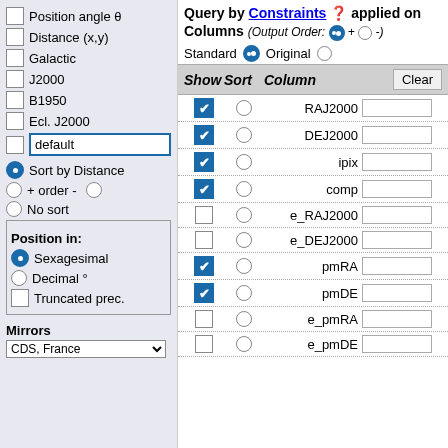Position angle θ
Distance (x,y)
Galactic
J2000
B1950
Ecl. J2000
default
Sort by Distance
+ order -
No sort
Position in:
Sexagesimal
Decimal °
Truncated prec.
Mirrors
CDS, France
Query by Constraints applied on Columns (Output Order: + -)
Standard Original
| Show | Sort | Column | Clear |
| --- | --- | --- | --- |
| ✔ | ○ | RAJ2000 |  |
| ✔ | ○ | DEJ2000 |  |
| ✔ | ○ | ipix |  |
| ✔ | ○ | comp |  |
| □ | ○ | e_RAJ2000 |  |
| □ | ○ | e_DEJ2000 |  |
| ✔ | ○ | pmRA |  |
| ✔ | ○ | pmDE |  |
| □ | ○ | e_pmRA |  |
| □ | ○ | e_pmDE |  |